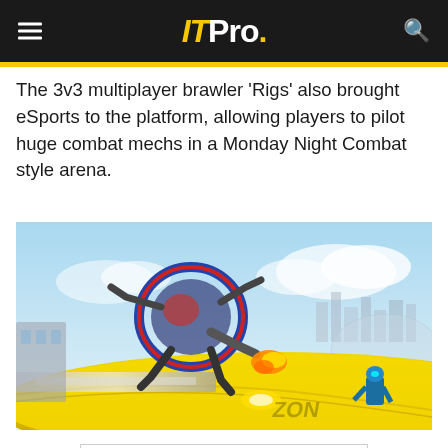IT Pro.
The 3v3 multiplayer brawler 'Rigs' also brought eSports to the platform, allowing players to pilot huge combat mechs in a Monday Night Combat style arena.
[Figure (screenshot): Screenshot from the video game RIGS: Mechanized Combat League showing a large robotic mech mid-air above a futuristic yellow arena with a city skyline in the background.]
[Figure (other): Advertisement for Zoho CRM for Enterprise: 'Simply different CRM - Close more sales with the right choice']